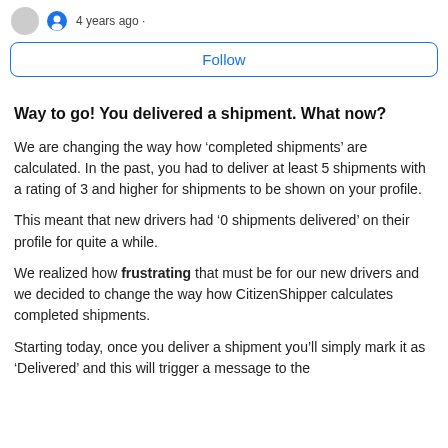4 years ago ·
Follow
Way to go! You delivered a shipment. What now?
We are changing the way how ‘completed shipments’ are calculated. In the past, you had to deliver at least 5 shipments with a rating of 3 and higher for shipments to be shown on your profile.
This meant that new drivers had ‘0 shipments delivered’ on their profile for quite a while.
We realized how frustrating that must be for our new drivers and we decided to change the way how CitizenShipper calculates completed shipments.
Starting today, once you deliver a shipment you’ll simply mark it as ‘Delivered’ and this will trigger a message to the